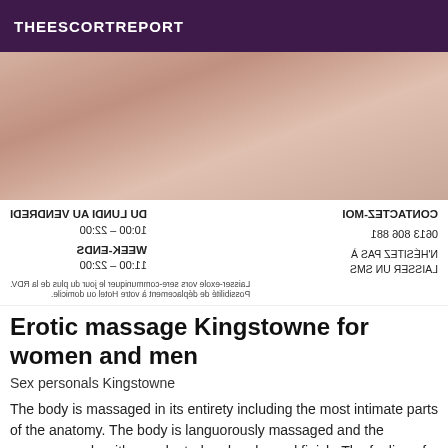THEESCORTREPORT
[Figure (photo): Blurred photo of a massage scene, skin tones, warm pinkish background]
CONTACTEZ-MOI
0613 806 881
N'HÉSITEZ PAS À
LAISSER UN SMS
DU LUNDI AU VENDREDI
10:00 – 22:00
WEEK-ENDS
11:00 – 22:00
Laisser avorce-exole vos sere-communiquer le jour du plus de la RDV.
Possibilité de déplacement à votre Hotel ou domicile.
Erotic massage Kingstowne for women and men
Sex personals Kingstowne
The body is massaged in its entirety including the most intimate parts of the anatomy. The body is languorously massaged and the massage ends with an adapted and prolonged finish. The feeling of well-being is total and it